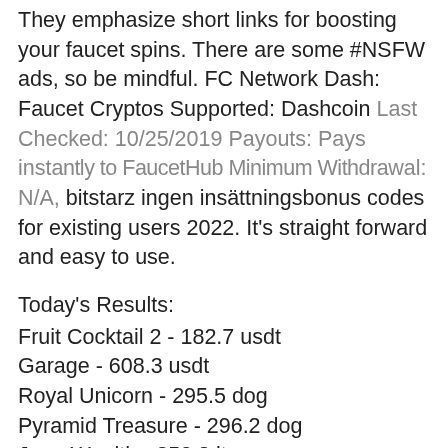They emphasize short links for boosting your faucet spins. There are some #NSFW ads, so be mindful. FC Network Dash: Faucet Cryptos Supported: Dashcoin Last Checked: 10/25/2019 Payouts: Pays instantly to FaucetHub Minimum Withdrawal: N/A, bitstarz ingen insättningsbonus codes for existing users 2022. It's straight forward and easy to use.
Today's Results:
Fruit Cocktail 2 - 182.7 usdt
Garage - 608.3 usdt
Royal Unicorn - 295.5 dog
Pyramid Treasure - 296.2 dog
Jean Wealth - 350.8 ltc
Moon Rabbit - 65.1 dog
Spin Party - 622.3 usdt
Crystal Ball Red Hot Firepot - 164.8 btc
Glutters - 13 eth
Mr.Vegas - 406.3 usdt
Mythic Maiden - 313.6 btc